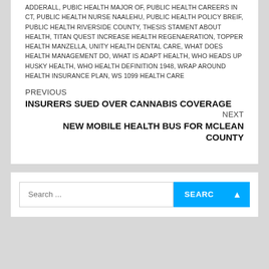ADDERALL, PUBIC HEALTH MAJOR OF, PUBLIC HEALTH CAREERS IN CT, PUBLIC HEALTH NURSE NAALEHU, PUBLIC HEALTH POLICY BREIF, PUBLIC HEALTH RIVERSIDE COUNTY, THESIS STAMENT ABOUT HEALTH, TITAN QUEST INCREASE HEALTH REGENAERATION, TOPPER HEALTH MANZELLA, UNITY HEALTH DENTAL CARE, WHAT DOES HEALTH MANAGEMENT DO, WHAT IS ADAPT HEALTH, WHO HEADS UP HUSKY HEALTH, WHO HEALTH DEFINITION 1948, WRAP AROUND HEALTH INSURANCE PLAN, WS 1099 HEALTH CARE
PREVIOUS
INSURERS SUED OVER CANNABIS COVERAGE
NEXT
NEW MOBILE HEALTH BUS FOR MCLEAN COUNTY
Search ...